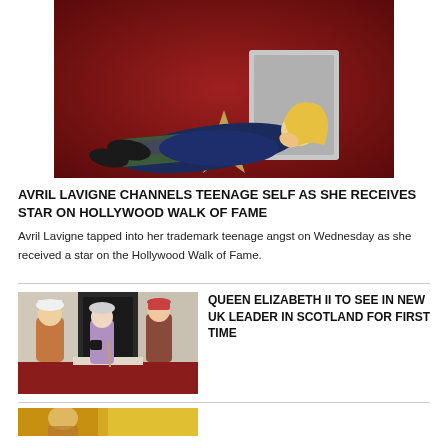[Figure (photo): Avril Lavigne lying on her Hollywood Walk of Fame star, wearing plaid pants and a navy hoodie, on a red carpet background with her star plaque visible]
AVRIL LAVIGNE CHANNELS TEENAGE SELF AS SHE RECEIVES STAR ON HOLLYWOOD WALK OF FAME
Avril Lavigne tapped into her trademark teenage angst on Wednesday as she received a star on the Hollywood Walk of Fame.
[Figure (photo): Queen Elizabeth II standing outside with two other people in formal attire on a red carpet outside a building in Scotland]
QUEEN ELIZABETH II TO SEE IN NEW UK LEADER IN SCOTLAND FOR FIRST TIME
[Figure (photo): Partial view of a third article image with yellow/gold coloring, partially cut off at bottom of page]